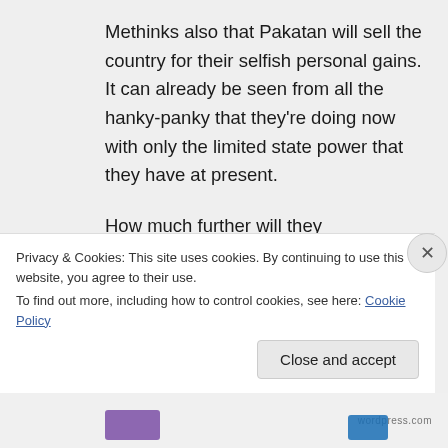Methinks also that Pakatan will sell the country for their selfish personal gains. It can already be seen from all the hanky-panky that they're doing now with only the limited state power that they have at present.
How much further will they
Privacy & Cookies: This site uses cookies. By continuing to use this website, you agree to their use.
To find out more, including how to control cookies, see here: Cookie Policy